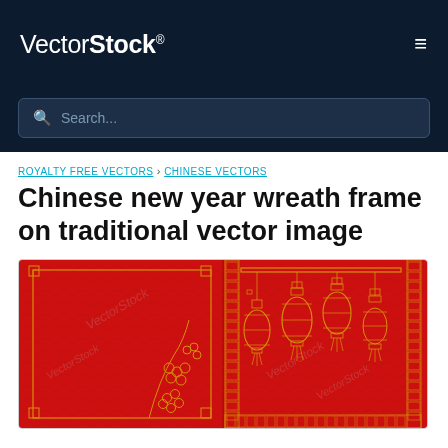VectorStock® ☰
Search...
ROYALTY FREE VECTORS › CHINESE VECTORS
Chinese new year wreath frame on traditional vector image
[Figure (illustration): Chinese new year vector image showing two red panels with golden outline frames. Left panel has a decorative rectangular frame with cherry blossom flowers. Right panel has hanging Chinese lanterns with a Greek-key border pattern. Both panels have subtle wave/scale patterns in the background and 'VectorStock' watermarks.]